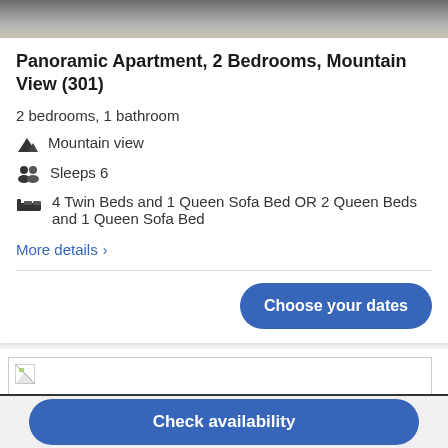[Figure (photo): Top portion of a hotel/apartment room photo showing furniture and interior]
Panoramic Apartment, 2 Bedrooms, Mountain View (301)
2 bedrooms, 1 bathroom
Mountain view
Sleeps 6
4 Twin Beds and 1 Queen Sofa Bed OR 2 Queen Beds and 1 Queen Sofa Bed
More details >
[Figure (photo): Partial hotel room photo (broken/loading image)]
Choose your dates
Check availability